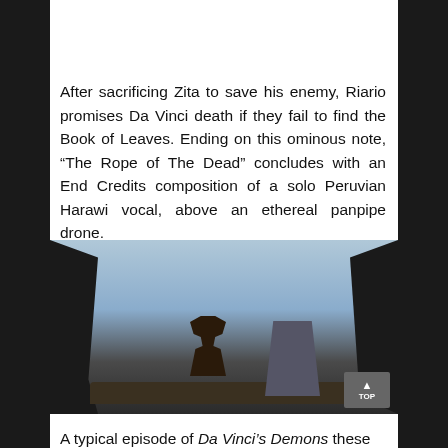[Figure (photo): Partial view of a scene — dark reddish-brown background with dotted/patterned wallpaper, cropped at top]
After sacrificing Zita to save his enemy, Riario promises Da Vinci death if they fail to find the Book of Leaves. Ending on this ominous note, “The Rope of The Dead” concludes with an End Credits composition of a solo Peruvian Harawi vocal, above an ethereal panpipe drone.
[Figure (photo): Scene from Da Vinci's Demons showing a figure silhouetted against a bright sky, viewed through a cave or rock opening, with a large stone monument nearby]
A typical episode of Da Vinci’s Demons these